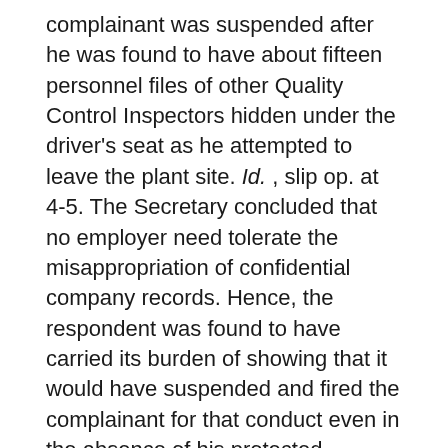complainant was suspended after he was found to have about fifteen personnel files of other Quality Control Inspectors hidden under the driver's seat as he attempted to leave the plant site. Id. , slip op. at 4-5. The Secretary concluded that no employer need tolerate the misappropriation of confidential company records. Hence, the respondent was found to have carried its burden of showing that it would have suspended and fired the complainant for that conduct even in the absence of his protected activities. Id. , slip op. at 11-12.
The Secretary noted that courts have given employers considerable discretion to protect their legitimate interests in confidentiality, and have upheld the immediate termination